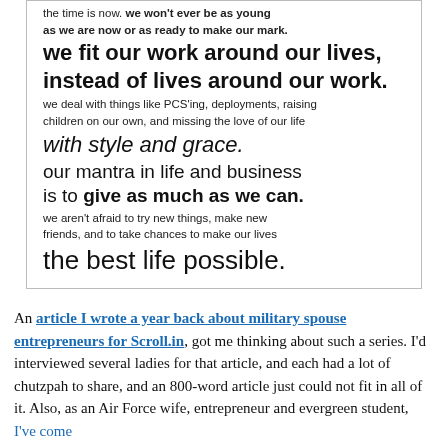[Figure (other): Inspirational quote box with mixed font sizes: 'the time is now. we won't ever be as young as we are now or as ready to make our mark. we fit our work around our lives, instead of lives around our work. we deal with things like PCS'ing, deployments, raising children on our own, and missing the love of our life with style and grace. our mantra in life and business is to give as much as we can. we aren't afraid to try new things, make new friends, and to take chances to make our lives the best life possible.']
An article I wrote a year back about military spouse entrepreneurs for Scroll.in, got me thinking about such a series. I'd interviewed several ladies for that article, and each had a lot of chutzpah to share, and an 800-word article just could not fit in all of it. Also, as an Air Force wife, entrepreneur and evergreen student, I've come